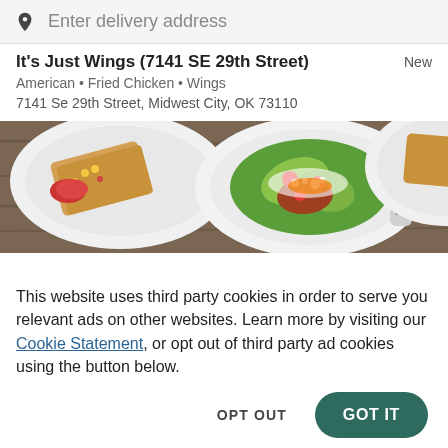Enter delivery address
It's Just Wings (7141 SE 29th Street)
American • Fried Chicken • Wings
7141 Se 29th Street, Midwest City, OK 73110
[Figure (photo): Food photography showing plates of salad and other dishes on a wooden table with salt and pepper shakers]
This website uses third party cookies in order to serve you relevant ads on other websites. Learn more by visiting our Cookie Statement, or opt out of third party ad cookies using the button below.
OPT OUT
GOT IT